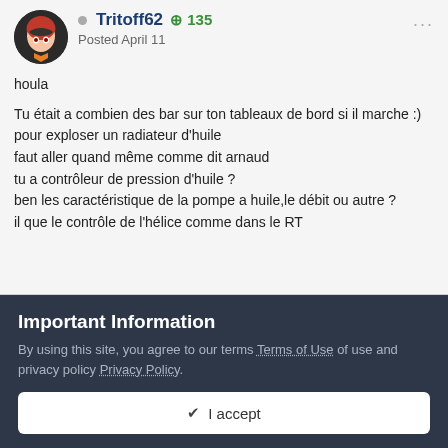Tritoff62 +135 Posted April 11
houla

Tu était a combien des bar sur ton tableaux de bord si il marche :)
pour exploser un radiateur d'huile
faut aller quand même comme dit arnaud
tu a contrôleur de pression d'huile ?
ben les caractéristique de la pompe a huile,le débit ou autre ?
il que le contrôle de l'hélice comme dans le RT
Important Information
By using this site, you agree to our terms Terms of Use of use and privacy policy Privacy Policy.
✓ I accept